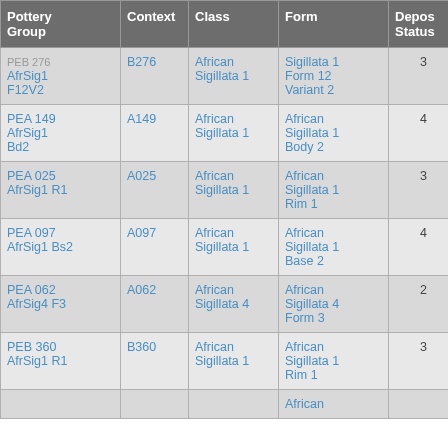| Pottery Group | Context | Class | Form | Depos Status | R Ct | R EV |
| --- | --- | --- | --- | --- | --- | --- |
| PEB 276 AfrSig1 F12V2 | B276 | African Sigillata 1 | Sigillata 1 Form 12 Variant 2 | 3 | 1 | 1 |
| PEA 149 AfrSig1 Bd2 | A149 | African Sigillata 1 | African Sigillata 1 Body 2 | 4 |  |  |
| PEA 025 AfrSig1 R1 | A025 | African Sigillata 1 | African Sigillata 1 Rim 1 | 3 | 4 |  |
| PEA 097 AfrSig1 Bs2 | A097 | African Sigillata 1 | African Sigillata 1 Base 2 | 4 |  |  |
| PEA 062 AfrSig4 F3 | A062 | African Sigillata 4 | African Sigillata 4 Form 3 | 2 | 4 | 4 |
| PEB 360 AfrSig1 R1 | B360 | African Sigillata 1 | African Sigillata 1 Rim 1 | 3 | 1 |  |
| (partial) |  |  | African ... |  |  |  |